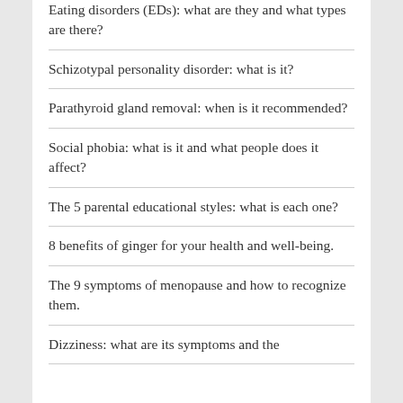Eating disorders (EDs): what are they and what types are there?
Schizotypal personality disorder: what is it?
Parathyroid gland removal: when is it recommended?
Social phobia: what is it and what people does it affect?
The 5 parental educational styles: what is each one?
8 benefits of ginger for your health and well-being.
The 9 symptoms of menopause and how to recognize them.
Dizziness: what are its symptoms and the